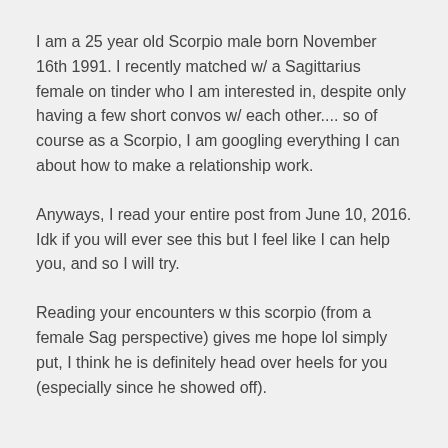I am a 25 year old Scorpio male born November 16th 1991. I recently matched w/ a Sagittarius female on tinder who I am interested in, despite only having a few short convos w/ each other.... so of course as a Scorpio, I am googling everything I can about how to make a relationship work.
Anyways, I read your entire post from June 10, 2016. Idk if you will ever see this but I feel like I can help you, and so I will try.
Reading your encounters w this scorpio (from a female Sag perspective) gives me hope lol simply put, I think he is definitely head over heels for you (especially since he showed off).